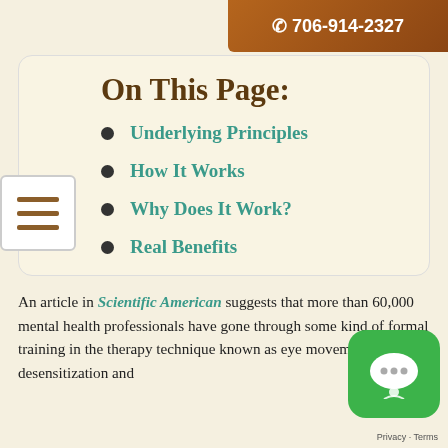706-914-2327
On This Page:
Underlying Principles
How It Works
Why Does It Work?
Real Benefits
Treatment at The Oaks
An article in Scientific American suggests that more than 60,000 mental health professionals have gone through some kind of formal training in the therapy technique known as eye movement desensitization and